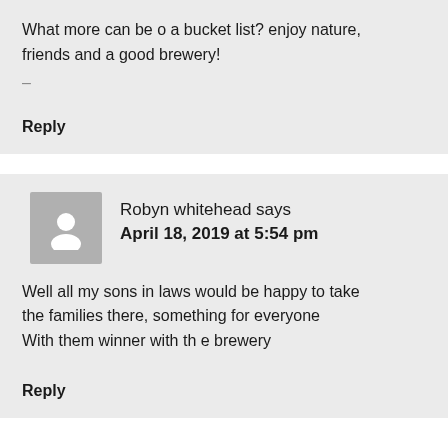What more can be o a bucket list? enjoy nature, friends and a good brewery!
–
Reply
Robyn whitehead says
April 18, 2019 at 5:54 pm
Well all my sons in laws would be happy to take the families there, something for everyone With them winner with th e brewery
Reply